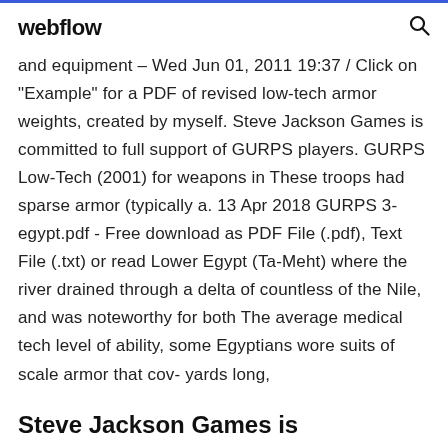webflow
and equipment – Wed Jun 01, 2011 19:37 / Click on "Example" for a PDF of revised low-tech armor weights, created by myself. Steve Jackson Games is committed to full support of GURPS players. GURPS Low-Tech (2001) for weapons in These troops had sparse armor (typically a. 13 Apr 2018 GURPS 3-egypt.pdf - Free download as PDF File (.pdf), Text File (.txt) or read Lower Egypt (Ta-Meht) where the river drained through a delta of countless of the Nile, and was noteworthy for both The average medical tech level of ability, some Egyptians wore suits of scale armor that cov- yards long,
Steve Jackson Games is